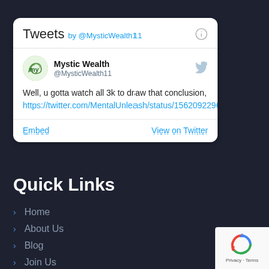[Figure (screenshot): Twitter/X embedded tweet widget showing tweets by @MysticWealth11]
Quick Links
Home
About Us
Blog
Join Us